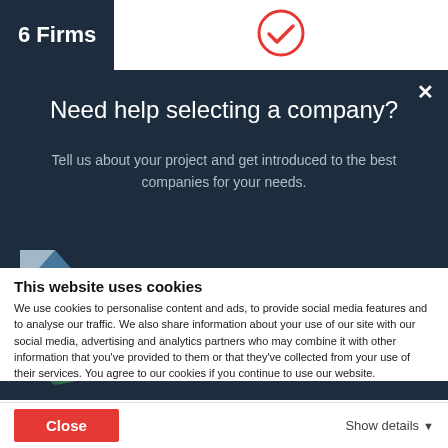6 Firms
[Figure (illustration): Red checkmark circle icon in white area on top bar]
×
Need help selecting a company?
Tell us about your project and get introduced to the best companies for your needs.
[Figure (illustration): Illustration of paper plane and 5 red stars on a dark background with geometric logo on left]
This website uses cookies
We use cookies to personalise content and ads, to provide social media features and to analyse our traffic. We also share information about your use of our site with our social media, advertising and analytics partners who may combine it with other information that you've provided to them or that they've collected from your use of their services. You agree to our cookies if you continue to use our website.
Close
Show details